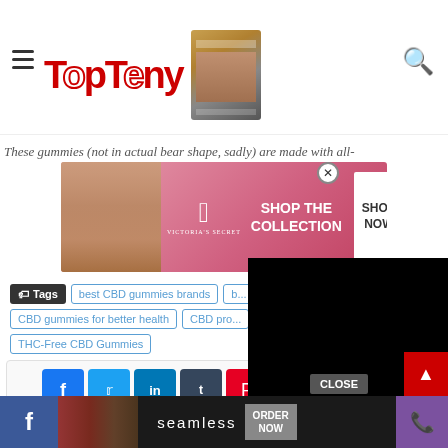TopTeny - website header with logo, hamburger menu, and search icon
These gummies (not in actual bear shape, sadly) are made with all-
[Figure (photo): Victoria's Secret advertisement banner with model, VS logo, 'SHOP THE COLLECTION' text and 'SHOP NOW' button]
[Figure (screenshot): Black video overlay/player in top-right area]
Tags: best CBD gummies brands | b... | CBD gummies for better health | CBD pro... | THC-Free CBD Gummies
[Figure (infographic): Social media share buttons: Facebook, Twitter, LinkedIn, Tumblr, Pinterest, Reddit, VK, WhatsApp, Telegram, Viber, Print]
Facebook icon | Seamless ORDER NOW advertisement | Phone icon | CLOSE button | scroll-to-top button